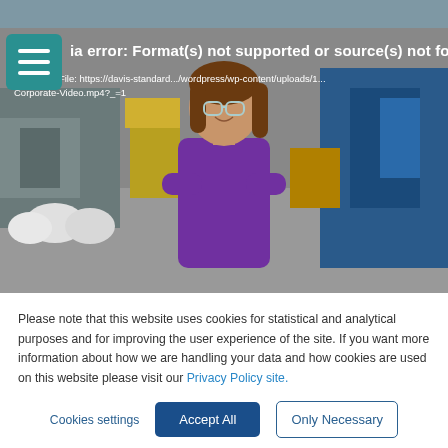[Figure (screenshot): Top portion of a website showing a cropped banner photo at the very top, followed by a green hamburger menu button overlaid on a video player area. The video player shows an error message: 'ia error: Format(s) not supported or source(s) not found' with a download file link below it. Behind the error text is a photo of a smiling woman with glasses wearing a purple top standing in an industrial/manufacturing facility with arms crossed.]
Please note that this website uses cookies for statistical and analytical purposes and for improving the user experience of the site. If you want more information about how we are handling your data and how cookies are used on this website please visit our Privacy Policy site.